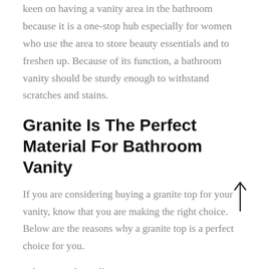keen on having a vanity area in the bathroom because it is a one-stop hub especially for women who use the area to store beauty essentials and to freshen up. Because of its function, a bathroom vanity should be sturdy enough to withstand scratches and stains.
Granite Is The Perfect Material For Bathroom Vanity
If you are considering buying a granite top for your vanity, know that you are making the right choice. Below are the reasons why a granite top is a perfect choice for you.
It has superb quality. Granite is resistant to stains and scratches and is durable enough to stand water even on a daily basis, making it a smart choice for bathroom vanity. If you are the type who would put cosmetics, perfumes, candles, and other daily essentials in your vanity, you don't